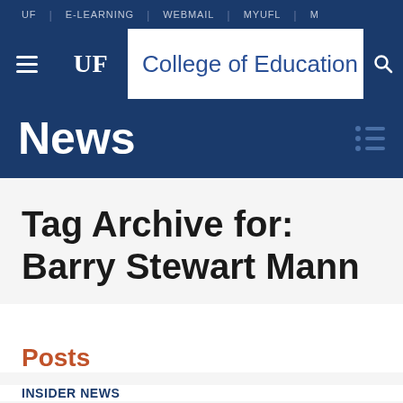UF | E-LEARNING | WEBMAIL | MYUFL | M
[Figure (screenshot): UF College of Education website header with hamburger menu, UF logo badge, College of Education title, and search icon]
News
Tag Archive for: Barry Stewart Mann
Posts
INSIDER NEWS